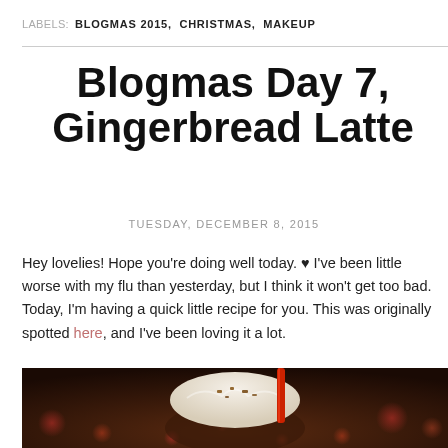LABELS: BLOGMAS 2015, CHRISTMAS, MAKEUP
Blogmas Day 7, Gingerbread Latte
TUESDAY, DECEMBER 8, 2015
Hey lovelies! Hope you're doing well today. ♥ I've been little worse with my flu than yesterday, but I think it won't get too bad. Today, I'm having a quick little recipe for you. This was originally spotted here, and I've been loving it a lot.
[Figure (photo): Close-up photo of a gingerbread latte drink topped with whipped cream and caramel/spice toppings, with a red straw, on a dark bokeh background]